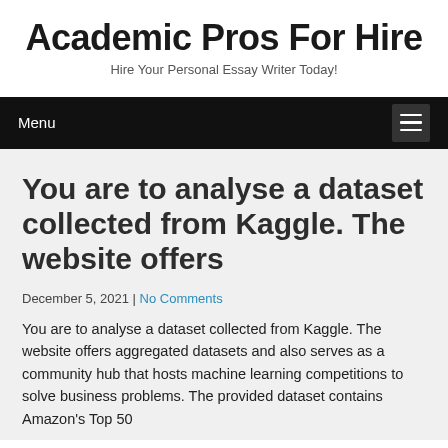Academic Pros For Hire
Hire Your Personal Essay Writer Today!
Menu
You are to analyse a dataset collected from Kaggle. The website offers
December 5, 2021 | No Comments
You are to analyse a dataset collected from Kaggle. The website offers aggregated datasets and also serves as a community hub that hosts machine learning competitions to solve business problems. The provided dataset contains Amazon's Top 50